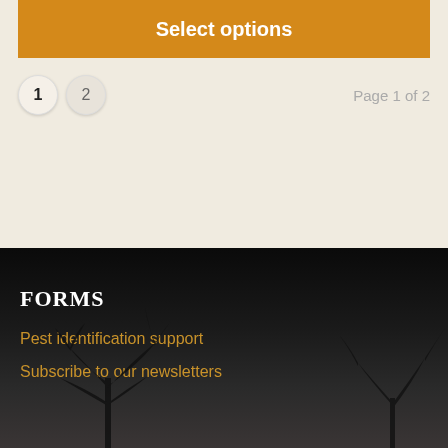Select options
1  2  Page 1 of 2
FORMS
Pest identification support
Subscribe to our newsletters
[Figure (illustration): Dark background with tree silhouettes at the bottom]